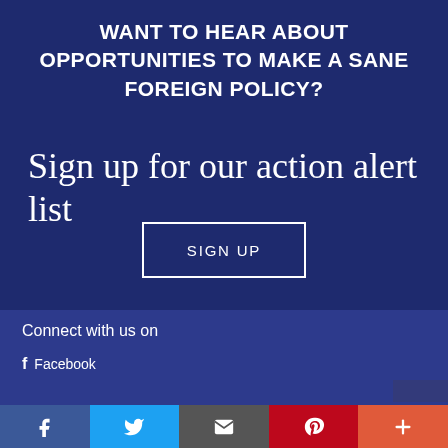WANT TO HEAR ABOUT OPPORTUNITIES TO MAKE A SANE FOREIGN POLICY?
Sign up for our action alert list
SIGN UP
Connect with us on
Facebook
[Figure (infographic): Social media sharing bar with icons for Facebook, Twitter, Email, Pinterest, and More (+)]